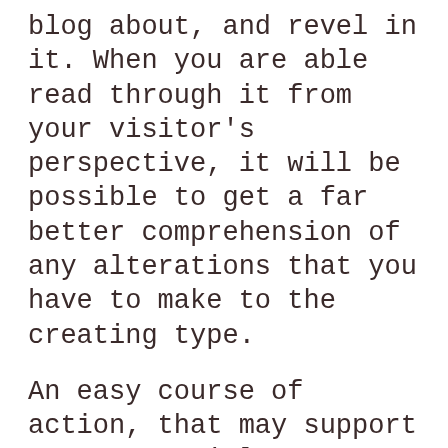blog about, and revel in it. When you are able read through it from your visitor's perspective, it will be possible to get a far better comprehension of any alterations that you have to make to the creating type.
An easy course of action, that may support your potential customers review important substance with your website, is usually to involve bullet points. These not merely help your reader in scanning, but will also break up your entrance right into a far more readable item. Help make your bullets bold to boost the ease of use also.
Whenever